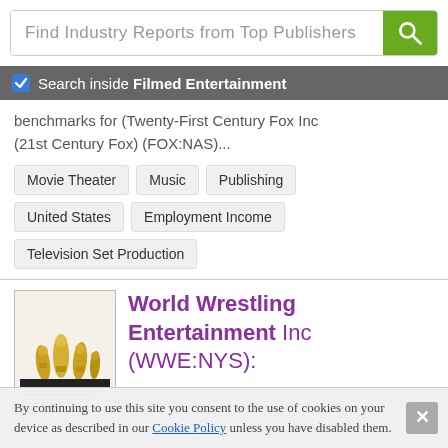Find Industry Reports from Top Publishers
Search inside Filmed Entertainment
benchmarks for (Twenty-First Century Fox Inc (21st Century Fox) (FOX:NAS)...
Movie Theater
Music
Publishing
United States
Employment Income
Television Set Production
[Figure (illustration): Book/report cover thumbnail with gold trophy-like figures on top, black bar near bottom, small text lines below]
World Wrestling Entertainment Inc (WWE:NYS):
By continuing to use this site you consent to the use of cookies on your device as described in our Cookie Policy unless you have disabled them.